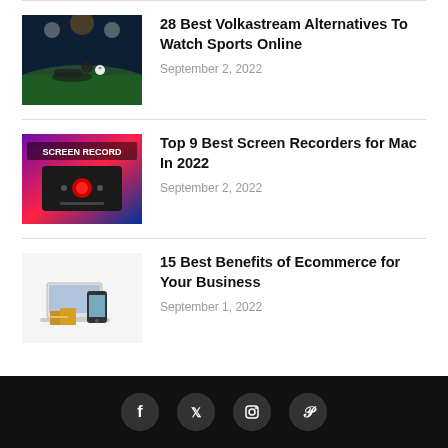[Figure (photo): Soccer player sliding tackle on a stadium pitch at night with dramatic lighting]
28 Best Volkastream Alternatives To Watch Sports Online
September 2, 2022
[Figure (screenshot): Screen record app interface on dark background with red record button]
Top 9 Best Screen Recorders for Mac In 2022
September 2, 2022
[Figure (photo): Ecommerce items: laptop, smartphone and cardboard boxes on white background]
15 Best Benefits of Ecommerce for Your Business
September 1, 2022
Social media icons: Facebook, Twitter, Instagram, Pinterest